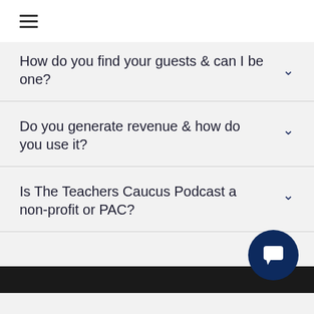[Figure (other): Hamburger menu icon (three horizontal lines)]
How do you find your guests & can I be one?
Do you generate revenue & how do you use it?
Is The Teachers Caucus Podcast a non-profit or PAC?
[Figure (other): Chat button icon — dark navy circle with white speech bubble]